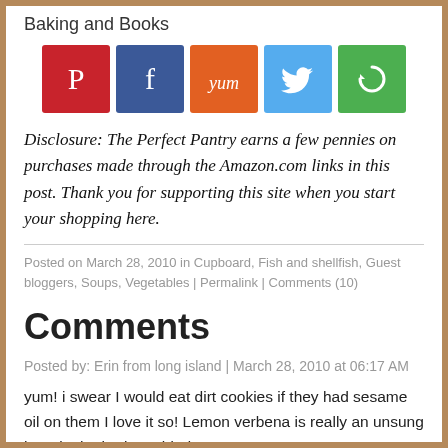Baking and Books
[Figure (infographic): Five social media share buttons: Pinterest (red), Facebook (blue), Yummly (orange), Twitter (light blue), and one green button with a circular arrow icon.]
Disclosure: The Perfect Pantry earns a few pennies on purchases made through the Amazon.com links in this post. Thank you for supporting this site when you start your shopping here.
Posted on March 28, 2010 in Cupboard, Fish and shellfish, Guest bloggers, Soups, Vegetables | Permalink | Comments (10)
Comments
Posted by: Erin from long island | March 28, 2010 at 06:17 AM
yum! i swear I would eat dirt cookies if they had sesame oil on them I love it so! Lemon verbena is really an unsung hero in the herb world, don't ya